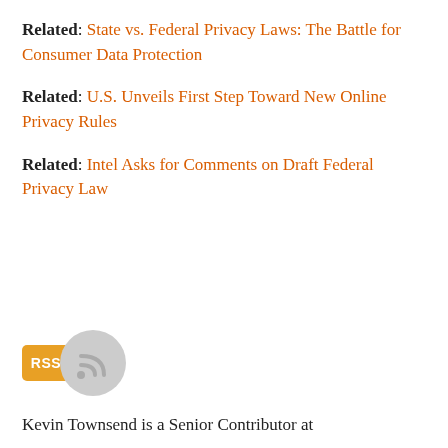Related: State vs. Federal Privacy Laws: The Battle for Consumer Data Protection
Related: U.S. Unveils First Step Toward New Online Privacy Rules
Related: Intel Asks for Comments on Draft Federal Privacy Law
[Figure (illustration): RSS badge icon (orange rectangle with RSS text) and a circular grey RSS feed symbol icon]
Kevin Townsend is a Senior Contributor at